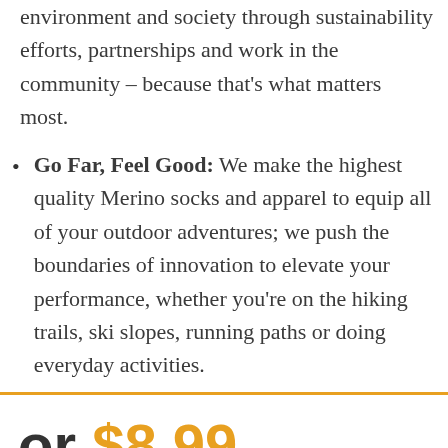…strive to improve the environment and society through sustainability efforts, partnerships and work in the community – because that's what matters most.
Go Far, Feel Good: We make the highest quality Merino socks and apparel to equip all of your outdoor adventures; we push the boundaries of innovation to elevate your performance, whether you're on the hiking trails, ski slopes, running paths or doing everyday activities.
or $8.99
r Socks | White |